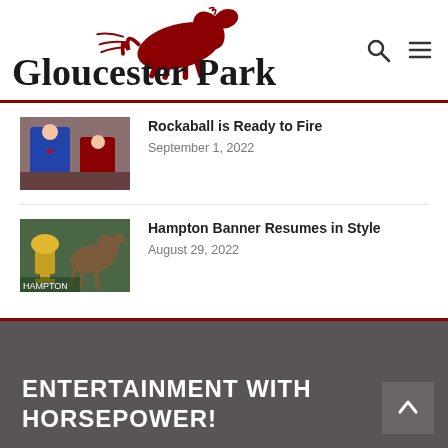Gloucester Park
Rockaball is Ready to Fire
September 1, 2022
Hampton Banner Resumes in Style
August 29, 2022
ENTERTAINMENT WITH HORSEPOWER!